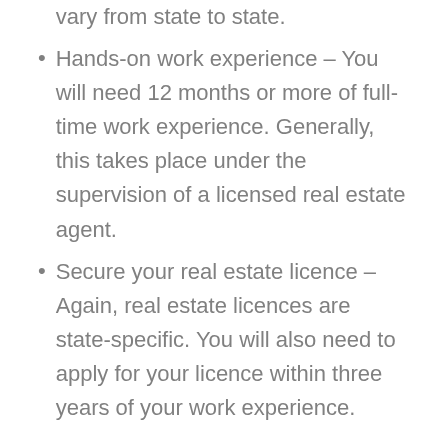vary from state to state.
Hands-on work experience – You will need 12 months or more of full-time work experience. Generally, this takes place under the supervision of a licensed real estate agent.
Secure your real estate licence – Again, real estate licences are state-specific. You will also need to apply for your licence within three years of your work experience.
This process means you don't need experience to get an entry-level job in real estate. But, you do need the appropriate qualification, regardless of whether you want to go into property